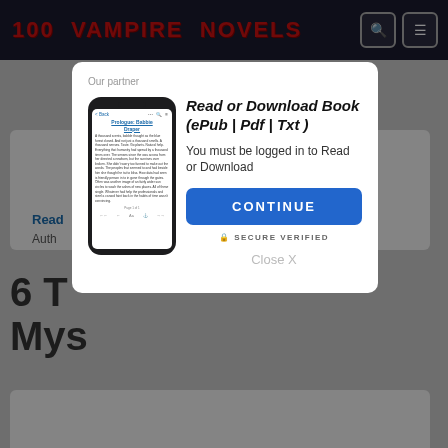100 VAMPIRE NOVELS
[Figure (screenshot): Website screenshot showing a modal dialog overlay on a vampire novels website. The modal contains a phone mockup, heading 'Read or Download Book (ePub | Pdf | Txt)', login prompt, CONTINUE button, SECURE VERIFIED badge, and Close X link.]
Read or Download Book (⁠ePub | Pdf | Txt )
You must be logged in to Read or Download
CONTINUE
SECURE VERIFIED
Close X
READ BOOK